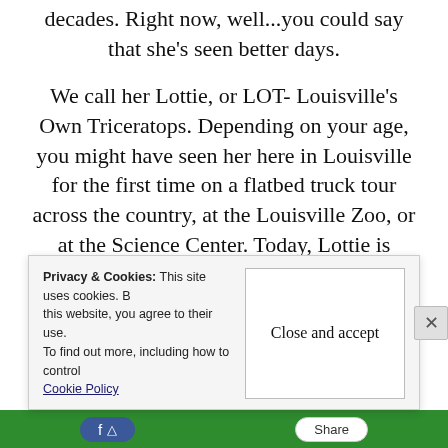decades. Right now, well...you could say that she's seen better days.
We call her Lottie, or LOT- Louisville's Own Triceratops. Depending on your age, you might have seen her here in Louisville for the first time on a flatbed truck tour across the country, at the Louisville Zoo, or at the Science Center. Today, Lottie is hidden away at the parking lot of a random warehouse in town, wasting away.
We want to change that.
Privacy & Cookies: This site uses cookies. By continuing to use this website, you agree to their use. To find out more, including how to control cookies, see here: Cookie Policy
Close and accept